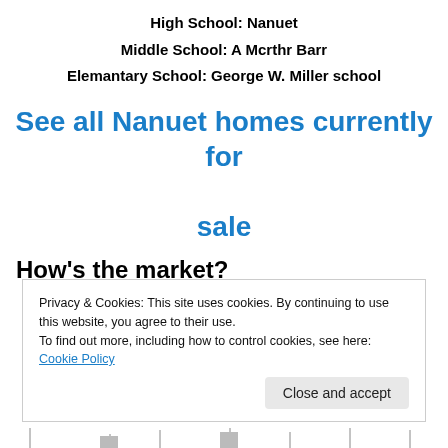High School: Nanuet
Middle School: A Mcrthr Barr
Elemantary School:  George W. Miller school
See all Nanuet homes currently for sale
How's the market?
Privacy & Cookies: This site uses cookies. By continuing to use this website, you agree to their use.
To find out more, including how to control cookies, see here: Cookie Policy